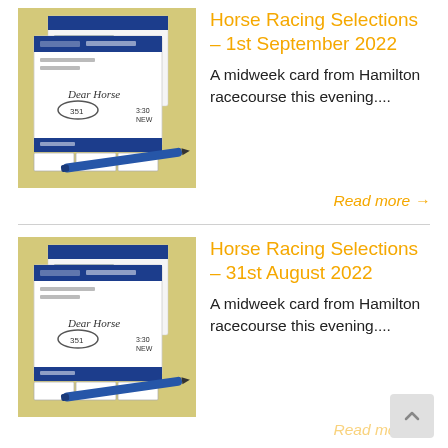[Figure (photo): Betting slips with a blue pen on a yellow background]
Horse Racing Selections – 1st September 2022
A midweek card from Hamilton racecourse this evening....
Read more →
[Figure (photo): Betting slips with a blue pen on a yellow background]
Horse Racing Selections – 31st August 2022
A midweek card from Hamilton racecourse this evening....
Read more →